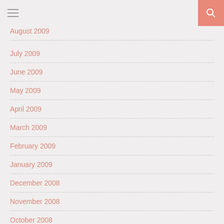Navigation header with hamburger menu and search button
August 2009
July 2009
June 2009
May 2009
April 2009
March 2009
February 2009
January 2009
December 2008
November 2008
October 2008
September 2008
August 2008